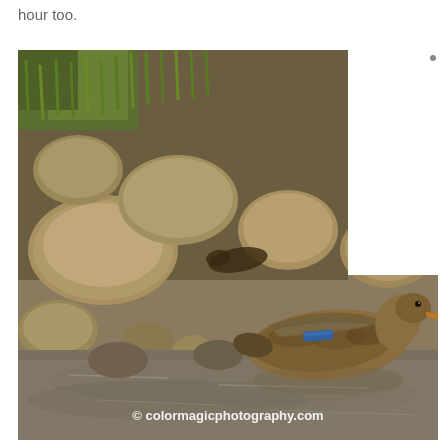hour too.
[Figure (photo): A mallard duck wading in a shallow rocky stream surrounded by large rounded stones and green grass. The image has a white rectangle blocking the upper right area. A watermark reads '© colormagicphotography.com' at the bottom.]